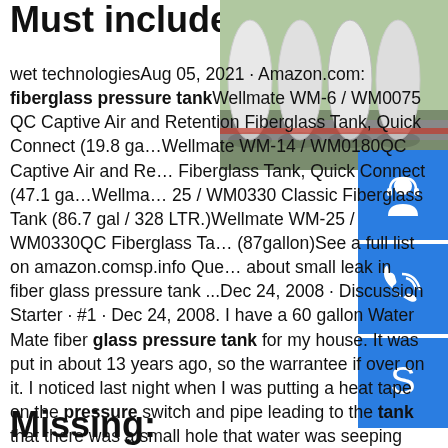Must include:
[Figure (photo): Aerial photo of large white industrial storage tanks/silos viewed from above, showing a road alongside them]
wet technologiesAug 05, 2021 · Amazon.com: fiberglass pressure tankWellmate WM-6 / WM0075 QC Captive Air and Retention Fiberglass Tank, Quick Connect (19.8 ga…Wellmate WM-14 / WM0180QC Captive Air and Retention Fiberglass Tank, Quick Connect (47.1 ga…Wellmate WM-25 / WM0330 Classic Fiberglass Tank (86.7 gal / 328 LTR.)Wellmate WM-25 / WM0330QC Fiberglass Tank (87gallon)See a full list on amazon.comsp.info Question about small leak in fiber glass pressure tank ...Dec 24, 2008 · Discussion Starter · #1 · Dec 24, 2008. I have a 60 gallon Water Mate fiber glass pressure tank for my house. It was put in about 13 years ago, so the warrantee if over on it. I noticed last night when I was putting a heat tape on the pressure switch and pipe leading to the tank that there was a small hole that water was seeping out of.
Missing: